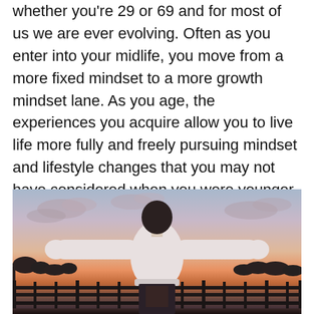whether you're 29 or 69 and for most of us we are ever evolving. Often as you enter into your midlife, you move from a more fixed mindset to a more growth mindset lane. As you age, the experiences you acquire allow you to live life more fully and freely pursuing mindset and lifestyle changes that you may not have considered when you were younger.
[Figure (photo): Silhouette of a person with arms outstretched standing on a balcony or deck with a railing, photographed from behind at sunset with a colorful sky in the background and trees visible in the distance.]